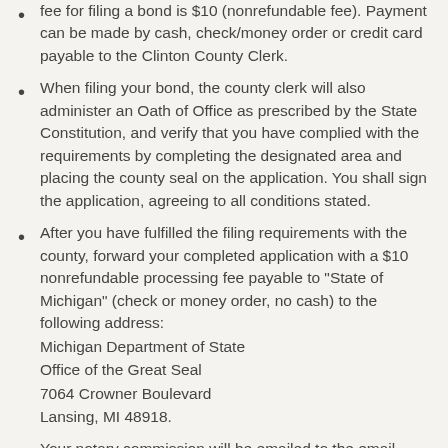fee for filing a bond is $10 (nonrefundable fee). Payment can be made by cash, check/money order or credit card payable to the Clinton County Clerk.
When filing your bond, the county clerk will also administer an Oath of Office as prescribed by the State Constitution, and verify that you have complied with the requirements by completing the designated area and placing the county seal on the application. You shall sign the application, agreeing to all conditions stated.
After you have fulfilled the filing requirements with the county, forward your completed application with a $10 nonrefundable processing fee payable to "State of Michigan" (check or money order, no cash) to the following address: Michigan Department of State Office of the Great Seal 7064 Crowner Boulevard Lansing, MI 48918.
Your notary commission will be emailed to the email provided on your application form. Your notary commission is not valid until you have received...